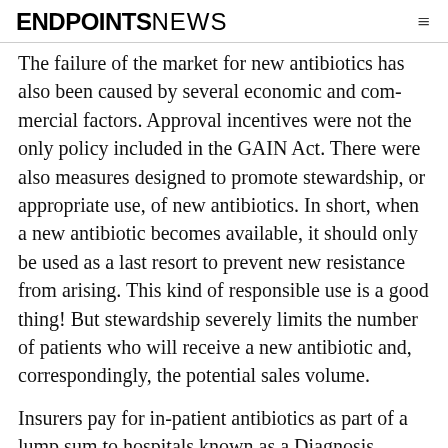ENDPOINTS NEWS
The failure of the market for new antibiotics has also been caused by several economic and commercial factors. Approval incentives were not the only policy included in the GAIN Act. There were also measures designed to promote stewardship, or appropriate use, of new antibiotics. In short, when a new antibiotic becomes available, it should only be used as a last resort to prevent new resistance from arising. This kind of responsible use is a good thing! But stewardship severely limits the number of patients who will receive a new antibiotic and, correspondingly, the potential sales volume.
Insurers pay for in-patient antibiotics as part of a lump sum to hospitals known as a Diagnosis Related Group (DRG). Using a cheap antibiotic